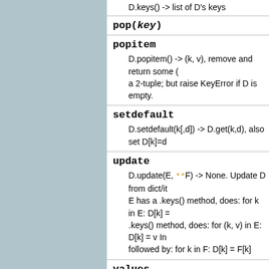D.keys() -> list of D's keys
pop(key)
popitem
D.popitem() -> (k, v), remove and return some (key, value) pair as a 2-tuple; but raise KeyError if D is empty.
setdefault
D.setdefault(k[,d]) -> D.get(k,d), also set D[k]=d
update
D.update(E, **F) -> None. Update D from dict/it... E has a .keys() method, does: for k in E: D[k] = ... .keys() method, does: for (k, v) in E: D[k] = v In ... followed by: for k in F: D[k] = F[k]
values
D.values() -> list of D's values
viewitems
D.viewitems() -> a set-like object providing a vie...